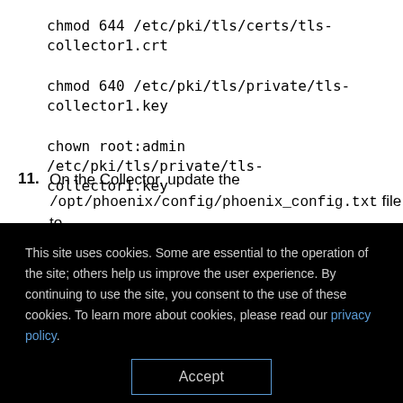chmod 644 /etc/pki/tls/certs/tls-collector1.crt
chmod 640 /etc/pki/tls/private/tls-collector1.key
chown root:admin /etc/pki/tls/private/tls-collector1.key
11. On the Collector, update the /opt/phoenix/config/phoenix_config.txt file to
This site uses cookies. Some are essential to the operation of the site; others help us improve the user experience. By continuing to use the site, you consent to the use of these cookies. To learn more about cookies, please read our privacy policy.
Accept